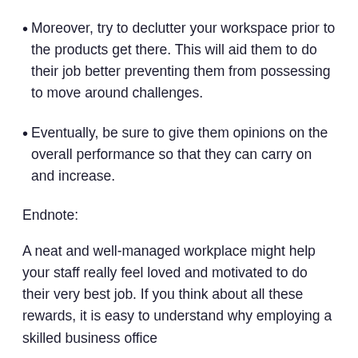Moreover, try to declutter your workspace prior to the products get there. This will aid them to do their job better preventing them from possessing to move around challenges.
Eventually, be sure to give them opinions on the overall performance so that they can carry on and increase.
Endnote:
A neat and well-managed workplace might help your staff really feel loved and motivated to do their very best job. If you think about all these rewards, it is easy to understand why employing a skilled business office